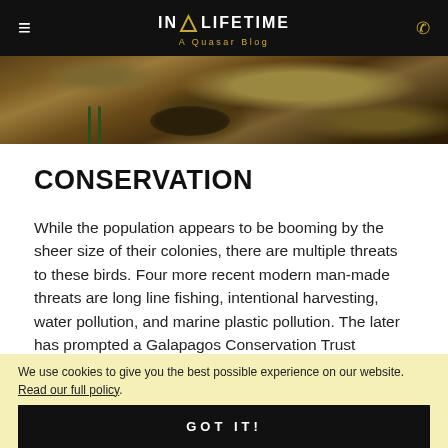IN A LIFETIME — A Quasar Blog
[Figure (photo): Close-up nature photo showing birds or wildlife in dry grassland habitat, brownish tones with grass and rocks visible]
CONSERVATION
While the population appears to be booming by the sheer size of their colonies, there are multiple threats to these birds. Four more recent modern man-made threats are long line fishing, intentional harvesting, water pollution, and marine plastic pollution. The later has prompted a Galapagos Conservation Trust
We use cookies to give you the best possible experience on our website. Read our full policy.
GOT IT!